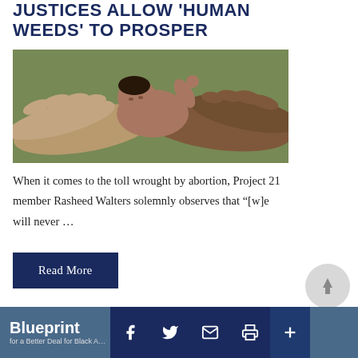JUSTICES ALLOW 'HUMAN WEEDS' TO PROSPER
[Figure (photo): A newborn baby cradled in two pairs of adult hands against a green/grey background]
When it comes to the toll wrought by abortion, Project 21 member Rasheed Walters solemnly observes that “[w]e will never …
Read More
Blueprint for a Better Deal for Black A...